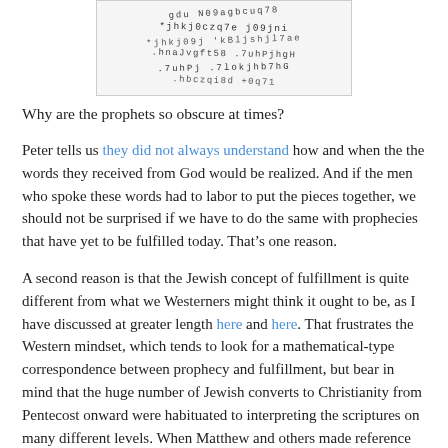[Figure (screenshot): Partial CAPTCHA or encoded text image showing scrambled alphanumeric characters in multiple lines]
Why are the prophets so obscure at times?
Peter tells us they did not always understand how and when the the words they received from God would be realized. And if the men who spoke these words had to labor to put the pieces together, we should not be surprised if we have to do the same with prophecies that have yet to be fulfilled today. That’s one reason.
A second reason is that the Jewish concept of fulfillment is quite different from what we Westerners might think it ought to be, as I have discussed at greater length here and here. That frustrates the Western mindset, which tends to look for a mathematical-type correspondence between prophecy and fulfillment, but bear in mind that the huge number of Jewish converts to Christianity from Pentecost onward were habituated to interpreting the scriptures on many different levels. When Matthew and others made reference to fulfilled prophecies, they were simply using the language of their day acceptable to all religious Jews. The apostles encountered plenty of objections to Jesus of Nazareth being the Christ. What they did not encounter was any objection to the way either they or